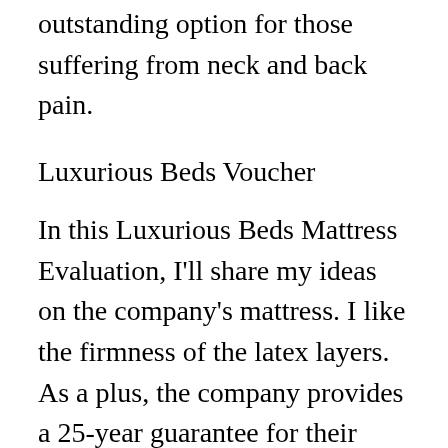outstanding option for those suffering from neck and back pain.
Luxurious Beds Voucher
In this Luxurious Beds Mattress Evaluation, I'll share my ideas on the company's mattress. I like the firmness of the latex layers. As a plus, the company provides a 25-year guarantee for their latex mattresses. While guarantees generally hedge on the actual length of the guarantee, I like to know that a business supports their item. This service warranty is extremely important, particularly considering that I